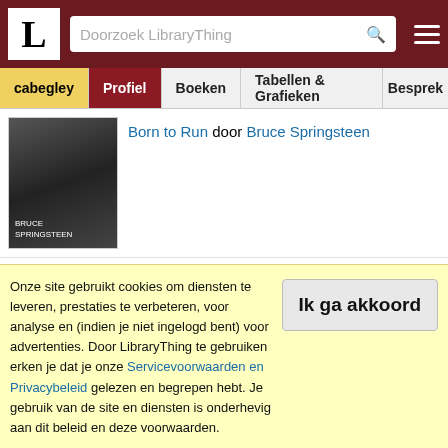LibraryThing - Doorzoek LibraryThing - cabegley | Profiel | Boeken | Tabellen & Grafieken | Besprek
[Figure (screenshot): Book cover for Born to Run by Bruce Springsteen - dark monochrome photo]
Born to Run door Bruce Springsteen
[Figure (screenshot): Book cover for Essays by Wallace Shawn - black and white portrait photo, titled ESSAYS WALLACE SHAWN]
cabegley voegde toe: Essays door Wallace Shawn
[Figure (screenshot): Book cover for The Year of Living Danishly - blue cover with yellow house illustration]
cabegley voegde toe: The Year of Living Danishly: Uncovering the Secrets of the World's Happiest Country door Helen Russell
Onze site gebruikt cookies om diensten te leveren, prestaties te verbeteren, voor analyse en (indien je niet ingelogd bent) voor advertenties. Door LibraryThing te gebruiken erken je dat je onze Servicevoorwaarden en Privacybeleid gelezen en begrepen hebt. Je gebruik van de site en diensten is onderhevig aan dit beleid en deze voorwaarden.